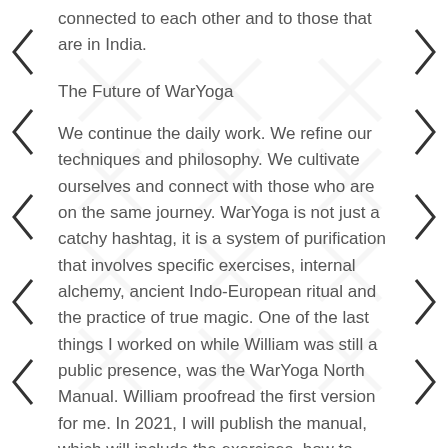connected to each other and to those that are in India.
The Future of WarYoga
We continue the daily work. We refine our techniques and philosophy. We cultivate ourselves and connect with those who are on the same journey. WarYoga is not just a catchy hashtag, it is a system of purification that involves specific exercises, internal alchemy, ancient Indo-European ritual and the practice of true magic. One of the last things I worked on while William was still a public presence, was the WarYoga North Manual. William proofread the first version for me. In 2021, I will publish the manual, which will include the exercises, how to make the equipment, a detailed look at the philosophy behind the system and a deep dive into